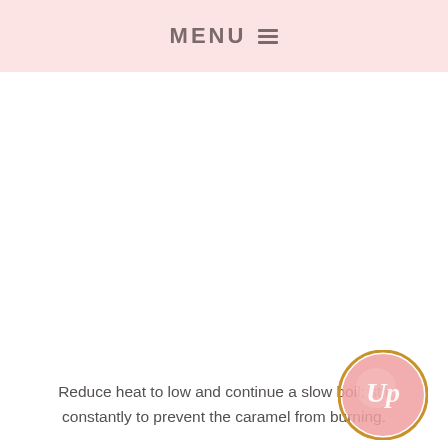MENU
Reduce heat to low and continue a slow boil; stir constantly to prevent the caramel from burning.
[Figure (logo): Pink circular logo with gold border and cursive white 'Up' lettering]